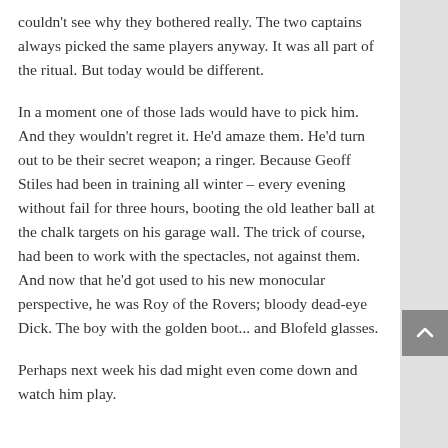couldn't see why they bothered really. The two captains always picked the same players anyway. It was all part of the ritual. But today would be different.
In a moment one of those lads would have to pick him. And they wouldn't regret it. He'd amaze them. He'd turn out to be their secret weapon; a ringer. Because Geoff Stiles had been in training all winter – every evening without fail for three hours, booting the old leather ball at the chalk targets on his garage wall. The trick of course, had been to work with the spectacles, not against them. And now that he'd got used to his new monocular perspective, he was Roy of the Rovers; bloody dead-eye Dick. The boy with the golden boot... and Blofeld glasses.
Perhaps next week his dad might even come down and watch him play.